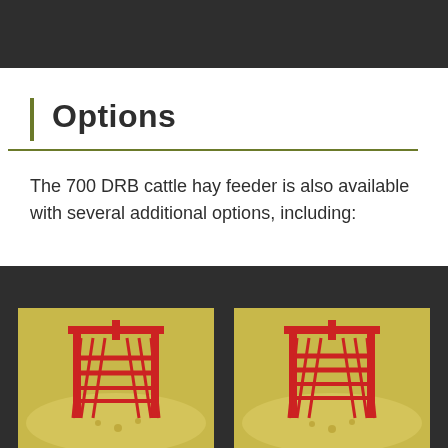Options
The 700 DRB cattle hay feeder is also available with several additional options, including:
[Figure (photo): Photo of yellow and red cattle hay feeder, left variant]
[Figure (photo): Photo of yellow and red cattle hay feeder, right variant]